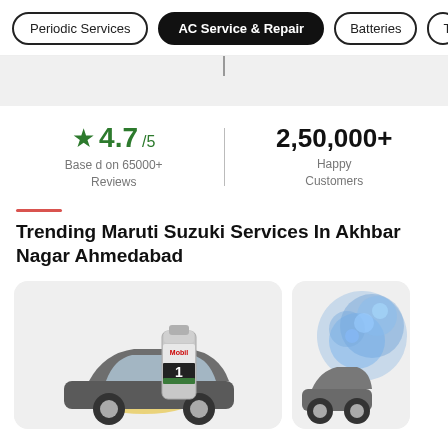Periodic Services | AC Service & Repair | Batteries | Tyres
★ 4.7/5 Based on 65000+ Reviews
2,50,000+ Happy Customers
Trending Maruti Suzuki Services In Akhbar Nagar Ahmedabad
[Figure (photo): Car service card showing a silver car with Mobil 1 oil bottle]
[Figure (photo): Car wash service card showing blue splash/foam]